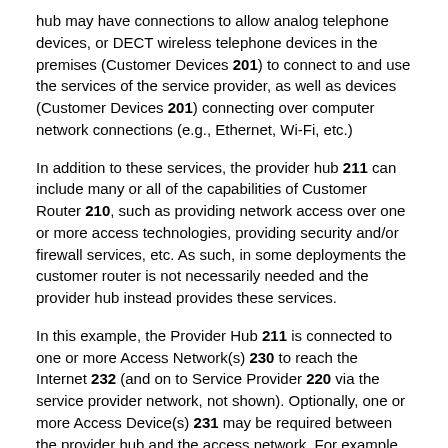hub may have connections to allow analog telephone devices, or DECT wireless telephone devices in the premises (Customer Devices 201) to connect to and use the services of the service provider, as well as devices (Customer Devices 201) connecting over computer network connections (e.g., Ethernet, Wi-Fi, etc.)
In addition to these services, the provider hub 211 can include many or all of the capabilities of Customer Router 210, such as providing network access over one or more access technologies, providing security and/or firewall services, etc. As such, in some deployments the customer router is not necessarily needed and the provider hub instead provides these services.
In this example, the Provider Hub 211 is connected to one or more Access Network(s) 230 to reach the Internet 232 (and on to Service Provider 220 via the service provider network, not shown). Optionally, one or more Access Device(s) 231 may be required between the provider hub and the access network. For example, the network service for the customer is provided by a cable company ISP, and the access device takes the form of a cable modem. In